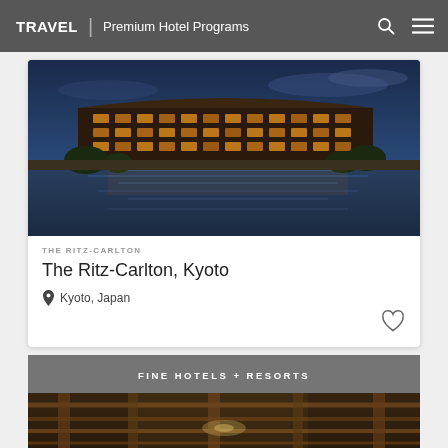TRAVEL | Premium Hotel Programs
[Figure (photo): Night exterior photo of The Ritz-Carlton Kyoto hotel illuminated with warm lights reflected in a river]
THE RITZ-CARLTON
The Ritz-Carlton, Kyoto
Kyoto, Japan
FINE HOTELS + RESORTS
[Figure (photo): Interior architectural photo of a second hotel showing wooden beams and a chandelier]